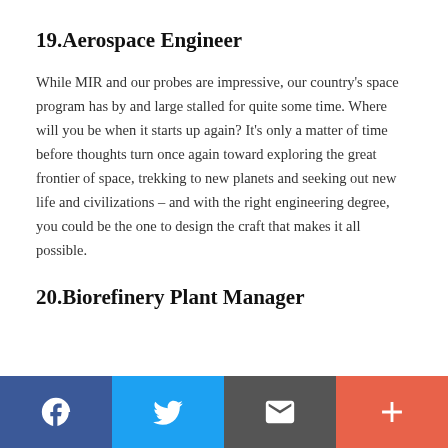19.Aerospace Engineer
While MIR and our probes are impressive, our country's space program has by and large stalled for quite some time. Where will you be when it starts up again? It's only a matter of time before thoughts turn once again toward exploring the great frontier of space, trekking to new planets and seeking out new life and civilizations – and with the right engineering degree, you could be the one to design the craft that makes it all possible.
20.Biorefinery Plant Manager
Social share bar: Facebook, Twitter, Email, Plus